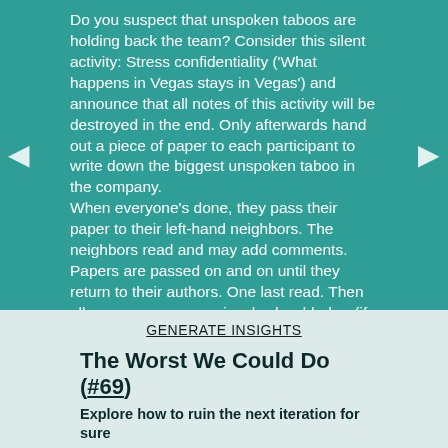Do you suspect that unspoken taboos are holding back the team? Consider this silent activity: Stress confidentiality ('What happens in Vegas stays in Vegas') and announce that all notes of this activity will be destroyed in the end. Only afterwards hand out a piece of paper to each participant to write down the biggest unspoken taboo in the company. When everyone's done, they pass their paper to their left-hand neighbors. The neighbors read and may add comments. Papers are passed on and on until they return to their authors. One last read. Then all pages are ceremoniously shredded or (if you're outside) burned.
GENERATE INSIGHTS
The Worst We Could Do (#69)
Explore how to ruin the next iteration for sure